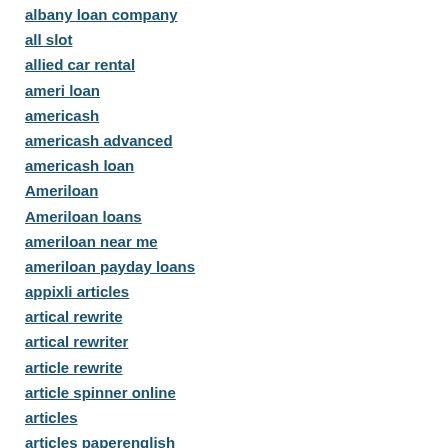albany loan company
all slot
allied car rental
ameri loan
americash
americash advanced
americash loan
Ameriloan
Ameriloan loans
ameriloan near me
ameriloan payday loans
appixli articles
artical rewrite
artical rewriter
article rewrite
article spinner online
articles
articles paperenglish
b and f loan